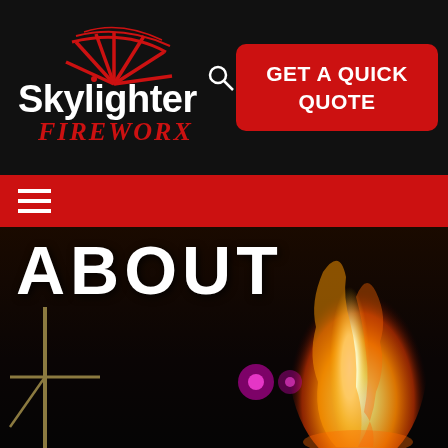[Figure (logo): Skylighter Fireworx logo with red firework burst graphic and white text on black background]
[Figure (other): Red rounded rectangle button with white bold text reading GET A QUICK QUOTE]
[Figure (other): Red navigation bar with white hamburger menu icon (three horizontal lines)]
[Figure (photo): Night-time photo showing a large flame/firework column shooting upward with pink lights in the background and the word ABOUT partially visible in white bold text at top]